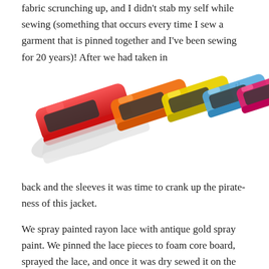fabric scrunching up, and I didn't stab my self while sewing (something that occurs every time I sew a garment that is pinned together and I've been sewing for 20 years)! After we had taken in the
[Figure (photo): Five colorful sewing wonder clips arranged in a row, in colors red, orange, yellow, light blue, and pink/magenta, on a white background.]
back and the sleeves it was time to crank up the pirate-ness of this jacket.
We spray painted rayon lace with antique gold spray paint. We pinned the lace pieces to foam core board, sprayed the lace, and once it was dry sewed it on the cuffs. For the lace on the front, we applied it using fusible web. We did this instead of sewing it down